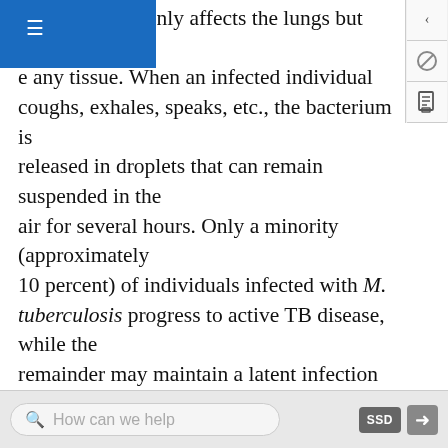nd most commonly affects the lungs but can e any tissue. When an infected individual coughs, exhales, speaks, etc., the bacterium is released in droplets that can remain suspended in the air for several hours. Only a minority (approximately 10 percent) of individuals infected with M. tuberculosis progress to active TB disease, while the remainder may maintain a latent infection that serves as a reservoir. TB has special challenges, including (a) a substantial number of patients with active disease are asymptomatic, capable of transmitting infection without knowing it; (b) patients must maintain compliance with treatment for six to nine months; and (c) the pathogen persists in many infected individuals in a latent state for many years but can be reactivated over a lifetime to cause disease and become
How can we help